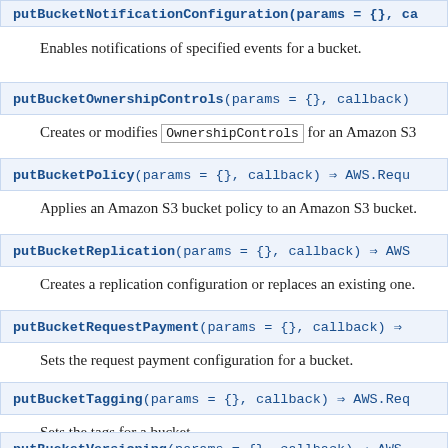putBucketNotificationConfiguration(params = {}, ca…
Enables notifications of specified events for a bucket.
putBucketOwnershipControls(params = {}, callback)
Creates or modifies OwnershipControls for an Amazon S3…
putBucketPolicy(params = {}, callback) ⇒ AWS.Requ…
Applies an Amazon S3 bucket policy to an Amazon S3 bucket.
putBucketReplication(params = {}, callback) ⇒ AWS…
Creates a replication configuration or replaces an existing one.
putBucketRequestPayment(params = {}, callback) ⇒
Sets the request payment configuration for a bucket.
putBucketTagging(params = {}, callback) ⇒ AWS.Req…
Sets the tags for a bucket.
Use tags to organize your Amazon Web Services bill to reflect y…
putBucketVersioning(params = {}, callback) ⇒ AWS…